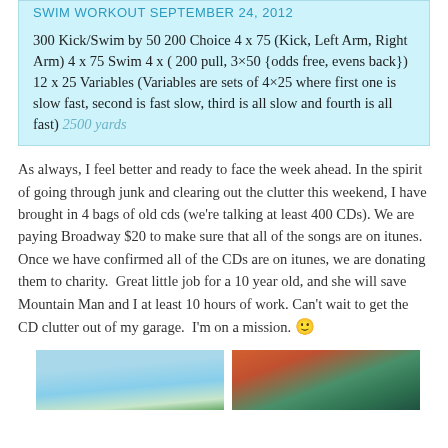SWIM WORKOUT SEPTEMBER 24, 2012
300 Kick/Swim by 50 200 Choice 4 x 75 (Kick, Left Arm, Right Arm) 4 x 75 Swim 4 x ( 200 pull, 3×50 {odds free, evens back}) 12 x 25 Variables (Variables are sets of 4×25 where first one is slow fast, second is fast slow, third is all slow and fourth is all fast) 2500 yards
As always, I feel better and ready to face the week ahead. In the spirit of going through junk and clearing out the clutter this weekend, I have brought in 4 bags of old cds (we're talking at least 400 CDs). We are paying Broadway $20 to make sure that all of the songs are on itunes.  Once we have confirmed all of the CDs are on itunes, we are donating them to charity.  Great little job for a 10 year old, and she will save Mountain Man and I at least 10 hours of work. Can't wait to get the CD clutter out of my garage.  I'm on a mission. 🙂
[Figure (photo): Two photos side by side: left shows palm trees against blue sky, right shows colorful building exterior with green structural elements]